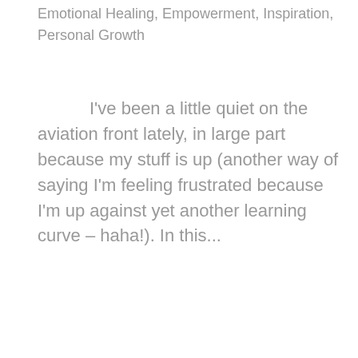Emotional Healing, Empowerment, Inspiration, Personal Growth
I've been a little quiet on the aviation front lately, in large part because my stuff is up (another way of saying I'm feeling frustrated because I'm up against yet another learning curve – haha!). In this...